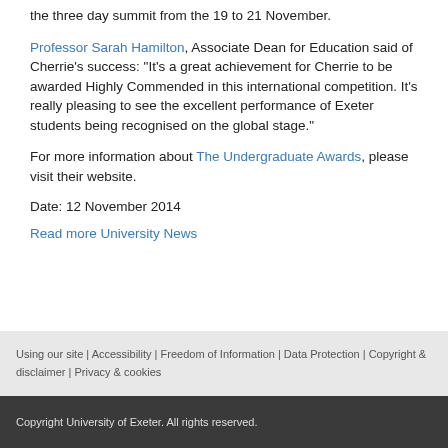the three day summit from the 19 to 21 November.
Professor Sarah Hamilton, Associate Dean for Education said of Cherrie's success: “It’s a great achievement for Cherrie to be awarded Highly Commended in this international competition. It’s really pleasing to see the excellent performance of Exeter students being recognised on the global stage.”
For more information about The Undergraduate Awards, please visit their website.
Date: 12 November 2014
Read more University News
Using our site | Accessibility | Freedom of Information | Data Protection | Copyright & disclaimer | Privacy & cookies
Copyright University of Exeter. All rights reserved.